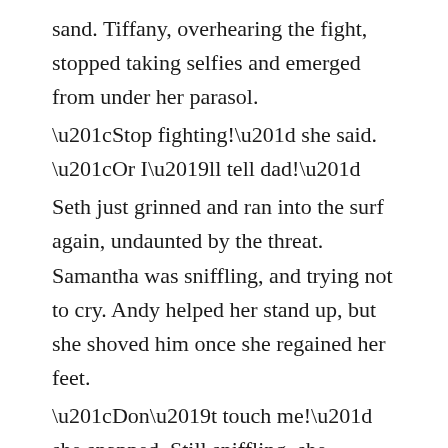sand. Tiffany, overhearing the fight, stopped taking selfies and emerged from under her parasol. “Stop fighting!” she said. “Or I’ll tell dad!” Seth just grinned and ran into the surf again, undaunted by the threat. Samantha was sniffling, and trying not to cry. Andy helped her stand up, but she shoved him once she regained her feet. “Don’t touch me!” she snapped. Still sniffling, she stormed up the beach and into the shade of the palm trees, her back to the ocean so no one could see her face. Andy knew she was crying. He thought about going to talk to her, but Tiffany called to him and he forgot all about Samantha. “Let me see my seashells,” she said. Tiffanys voice was musical in its chiming cadences, like